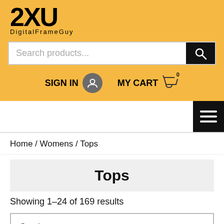[Figure (logo): 2XU logo with DigitalFrameGuy text below on golden/yellow background]
Search products...
SIGN IN
MY CART 0
Home / Womens / Tops
Tops
Showing 1–24 of 169 results
Sort by newness